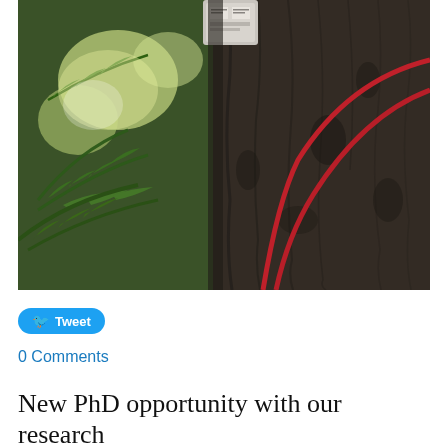[Figure (photo): A large tree trunk with red cables or wires running along its bark, and green fern foliage visible in the background to the left. A small monitoring device or sensor box is attached near the top of the visible trunk area.]
Tweet
0 Comments
New PhD opportunity with our research